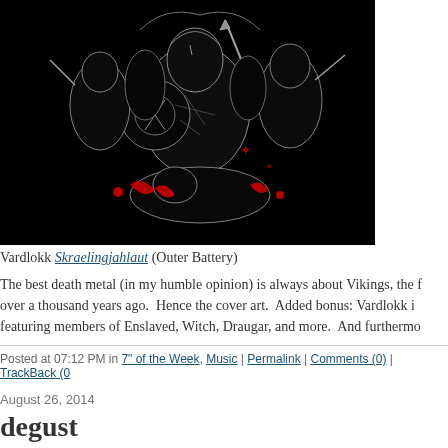[Figure (illustration): Black background illustration of Viking warriors with weapons, shields, and armor, with red blood splatter accents]
Vardlokk Skraelingjahlaut (Outer Battery)
The best death metal (in my humble opinion) is always about Vikings, the f over a thousand years ago. Hence the cover art. Added bonus: Vardlokk i featuring members of Enslaved, Witch, Draugar, and more. And furthermo
Posted at 07:12 PM in 7" of the Week, Music | Permalink | Comments (0) | TrackBack (0
August 26, 2014
degust
[Figure (photo): Photo of a cat near wooden furniture on a carpeted floor]